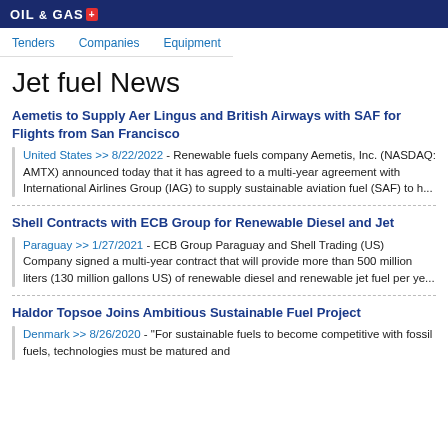OIL & GAS
Tenders  Companies  Equipment
Jet fuel News
Aemetis to Supply Aer Lingus and British Airways with SAF for Flights from San Francisco
United States >> 8/22/2022 - Renewable fuels company Aemetis, Inc. (NASDAQ: AMTX) announced today that it has agreed to a multi-year agreement with International Airlines Group (IAG) to supply sustainable aviation fuel (SAF) to h...
Shell Contracts with ECB Group for Renewable Diesel and Jet
Paraguay >> 1/27/2021 - ECB Group Paraguay and Shell Trading (US) Company signed a multi-year contract that will provide more than 500 million liters (130 million gallons US) of renewable diesel and renewable jet fuel per ye...
Haldor Topsoe Joins Ambitious Sustainable Fuel Project
Denmark >> 8/26/2020 - "For sustainable fuels to become competitive with fossil fuels, technologies must be matured and